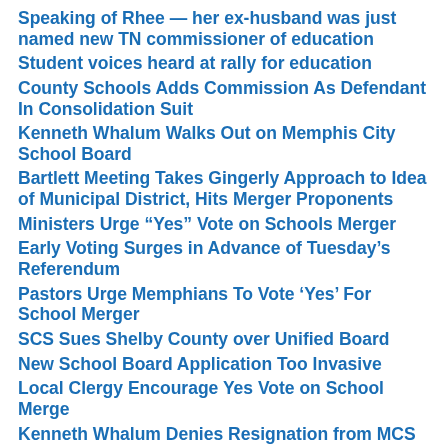Speaking of Rhee — her ex-husband was just named new TN commissioner of education
Student voices heard at rally for education
County Schools Adds Commission As Defendant In Consolidation Suit
Kenneth Whalum Walks Out on Memphis City School Board
Bartlett Meeting Takes Gingerly Approach to Idea of Municipal District, Hits Merger Proponents
Ministers Urge “Yes” Vote on Schools Merger
Early Voting Surges in Advance of Tuesday’s Referendum
Pastors Urge Memphians To Vote ‘Yes’ For School Merger
SCS Sues Shelby County over Unified Board
New School Board Application Too Invasive
Local Clergy Encourage Yes Vote on School Merge
Kenneth Whalum Denies Resignation from MCS